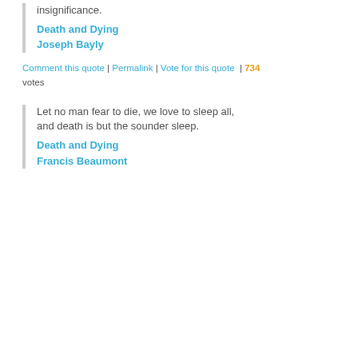insignificance.
Death and Dying
Joseph Bayly
Comment this quote | Permalink | Vote for this quote | 734 votes
Let no man fear to die, we love to sleep all, and death is but the sounder sleep.
Death and Dying
Francis Beaumont